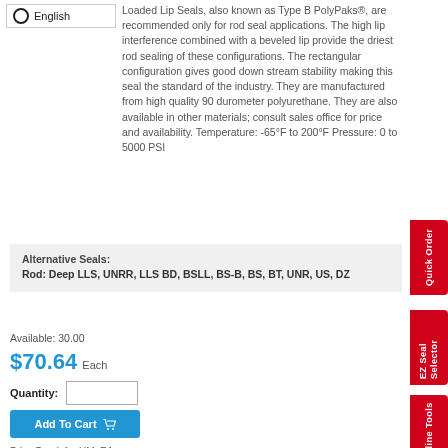English
Loaded Lip Seals, also known as Type B PolyPaks®, are recommended only for rod seal applications. The high lip interference combined with a beveled lip provide the driest rod sealing of these configurations. The rectangular configuration gives good down stream stability making this seal the standard of the industry. They are manufactured from high quality 90 durometer polyurethane. They are also available in other materials; consult sales office for price and availability. Temperature: -65°F to 200°F Pressure: 0 to 5000 PSI
Alternative Seals:
Rod: Deep LLS, UNRR, LLS BD, BSLL, BS-B, BS, BT, UNR, US, DZ
Available: 30.00
$70.64 Each
Quantity:
Add To Cart
Price Break for UM: EA
Quick Order
EZ Seal Selector
Online Tools